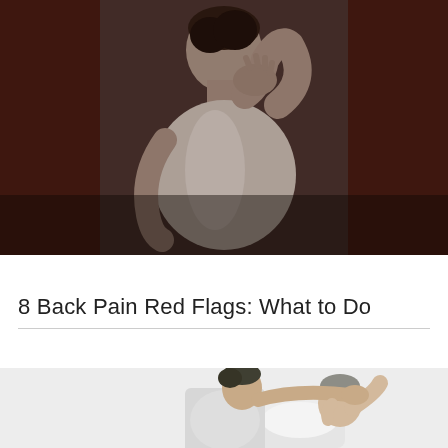[Figure (photo): A man seen from behind, wearing a white tank top, reaching one hand up to touch the back of his neck/upper back. The image has a dark, moody, slightly reddish-brown toned background.]
8 Back Pain Red Flags: What to Do
[Figure (photo): A healthcare professional or physical therapist assessing a patient, bending the patient's neck sideways. Both are men, shown against a light grey/white background.]